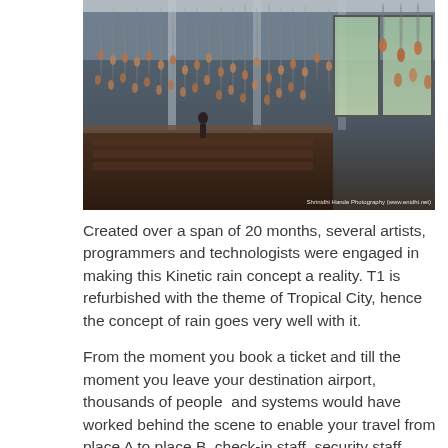[Figure (photo): Interior of an airport terminal (T1) featuring a kinetic rain installation with hundreds of small copper/bronze droplet-shaped ornaments hanging from the ceiling in a wave-like pattern, with large windows showing the outside and seating areas below. Watermark reads: Shrinidhi Hande Photography (www.enidhi.net)]
Created over a span of 20 months, several artists, programmers and technologists were engaged in making this Kinetic rain concept a reality. T1 is refurbished with the theme of Tropical City, hence the concept of rain goes very well with it.
From the moment you book a ticket and till the moment you leave your destination airport, thousands of people  and systems would have worked behind the scene to enable your travel from place A to place B. check-in staff, security staff, baggage handlers, food